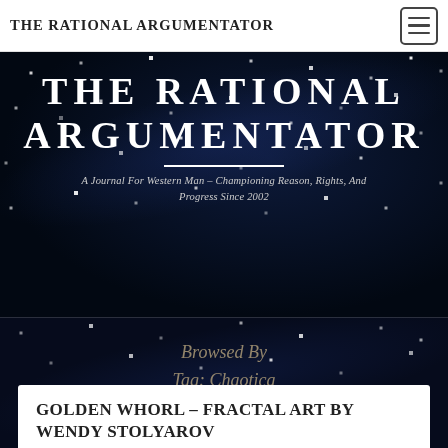THE RATIONAL ARGUMENTATOR
THE RATIONAL ARGUMENTATOR
A Journal For Western Man – Championing Reason, Rights, And Progress Since 2002
Browsed By Tag: Chaotica
GOLDEN WHORL – FRACTAL ART BY WENDY STOLYAROV
July 21, 2015  Wendy Stolyarov  1